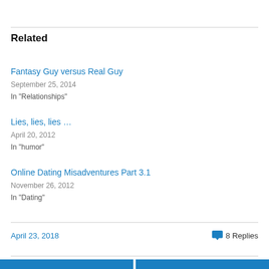Related
Fantasy Guy versus Real Guy
September 25, 2014
In "Relationships"
Lies, lies, lies …
April 20, 2012
In "humor"
Online Dating Misadventures Part 3.1
November 26, 2012
In "Dating"
April 23, 2018
8 Replies